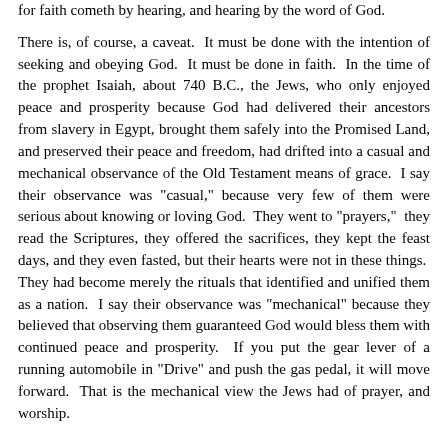for faith cometh by hearing, and hearing by the word of God.
There is, of course, a caveat. It must be done with the intention of seeking and obeying God. It must be done in faith. In the time of the prophet Isaiah, about 740 B.C., the Jews, who only enjoyed peace and prosperity because God had delivered their ancestors from slavery in Egypt, brought them safely into the Promised Land, and preserved their peace and freedom, had drifted into a casual and mechanical observance of the Old Testament means of grace. I say their observance was "casual," because very few of them were serious about knowing or loving God. They went to "prayers," they read the Scriptures, they offered the sacrifices, they kept the feast days, and they even fasted, but their hearts were not in these things. They had become merely the rituals that identified and unified them as a nation. I say their observance was "mechanical" because they believed that observing them guaranteed God would bless them with continued peace and prosperity. If you put the gear lever of a running automobile in "Drive" and push the gas pedal, it will move forward. That is the mechanical view the Jews had of prayer, and worship.